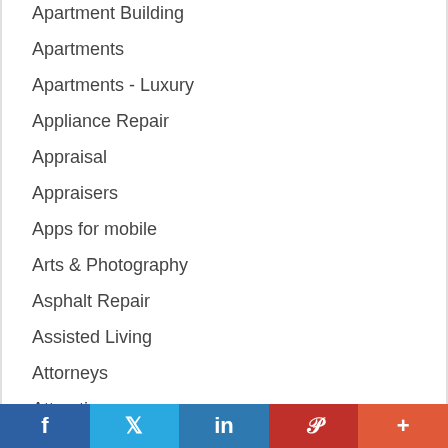Apartment Building
Apartments
Apartments - Luxury
Appliance Repair
Appraisal
Appraisers
Apps for mobile
Arts & Photography
Asphalt Repair
Assisted Living
Attorneys
Attractions
Auto Body
Auto Exhaust Services
f  t  in  P  +